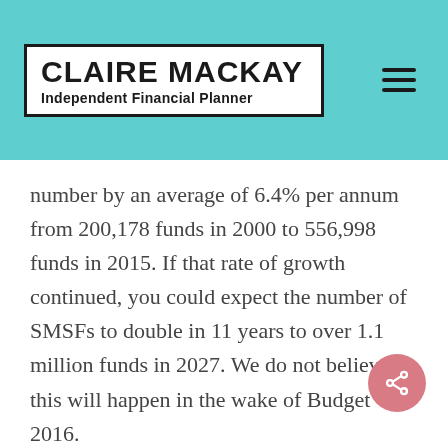CLAIRE MACKAY Independent Financial Planner
number by an average of 6.4% per annum from 200,178 funds in 2000 to 556,998 funds in 2015. If that rate of growth continued, you could expect the number of SMSFs to double in 11 years to over 1.1 million funds in 2027. We do not believe this will happen in the wake of Budget 2016.
Figure 1: Actual growth in